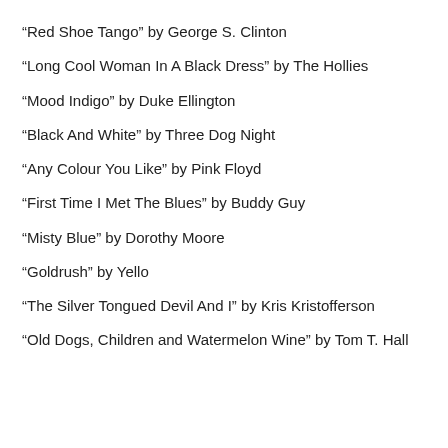“Red Shoe Tango” by George S. Clinton
“Long Cool Woman In A Black Dress” by The Hollies
“Mood Indigo” by Duke Ellington
“Black And White” by Three Dog Night
“Any Colour You Like” by Pink Floyd
“First Time I Met The Blues” by Buddy Guy
“Misty Blue” by Dorothy Moore
“Goldrush” by Yello
“The Silver Tongued Devil And I” by Kris Kristofferson
“Old Dogs, Children and Watermelon Wine” by Tom T. Hall